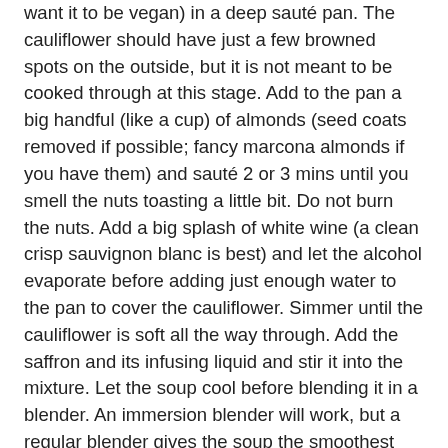want it to be vegan) in a deep sauté pan. The cauliflower should have just a few browned spots on the outside, but it is not meant to be cooked through at this stage. Add to the pan a big handful (like a cup) of almonds (seed coats removed if possible; fancy marcona almonds if you have them) and sauté 2 or 3 mins until you smell the nuts toasting a little bit. Do not burn the nuts. Add a big splash of white wine (a clean crisp sauvignon blanc is best) and let the alcohol evaporate before adding just enough water to the pan to cover the cauliflower. Simmer until the cauliflower is soft all the way through. Add the saffron and its infusing liquid and stir it into the mixture. Let the soup cool before blending it in a blender. An immersion blender will work, but a regular blender gives the soup the smoothest texture. Add more water to thin as needed. Add salt and black pepper to taste. If you want to enhance the cauliflower flavor, stir in a bit of prepared brown mustard, but add just a little at a time. The mustard flavor will be more pronounced when the soup is hot.